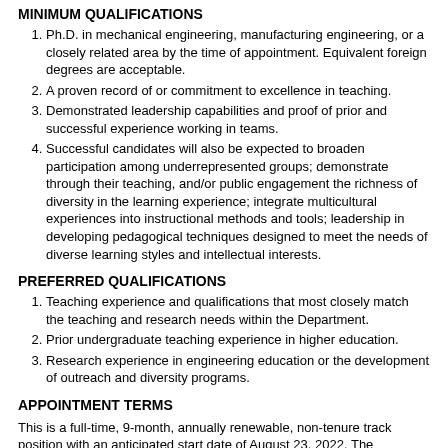MINIMUM QUALIFICATIONS
Ph.D. in mechanical engineering, manufacturing engineering, or a closely related area by the time of appointment. Equivalent foreign degrees are acceptable.
A proven record of or commitment to excellence in teaching.
Demonstrated leadership capabilities and proof of prior and successful experience working in teams.
Successful candidates will also be expected to broaden participation among underrepresented groups; demonstrate through their teaching, and/or public engagement the richness of diversity in the learning experience; integrate multicultural experiences into instructional methods and tools; leadership in developing pedagogical techniques designed to meet the needs of diverse learning styles and intellectual interests.
PREFERRED QUALIFICATIONS
Teaching experience and qualifications that most closely match the teaching and research needs within the Department.
Prior undergraduate teaching experience in higher education.
Research experience in engineering education or the development of outreach and diversity programs.
APPOINTMENT TERMS
This is a full-time, 9-month, annually renewable, non-tenure track position with an anticipated start date of August 23, 2022.  The